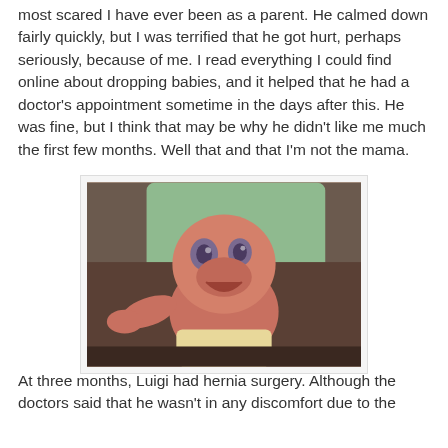most scared I have ever been as a parent. He calmed down fairly quickly, but I was terrified that he got hurt, perhaps seriously, because of me. I read everything I could find online about dropping babies, and it helped that he had a doctor's appointment sometime in the days after this. He was fine, but I think that may be why he didn't like me much the first few months. Well that and that I'm not the mama.
[Figure (photo): Photo of a baby dinosaur puppet or creature character (resembling from a TV show) sitting in a chair, reaching out with one arm, looking upward with large eyes. Greenish background.]
At three months, Luigi had hernia surgery. Although the doctors said that he wasn't in any discomfort due to the